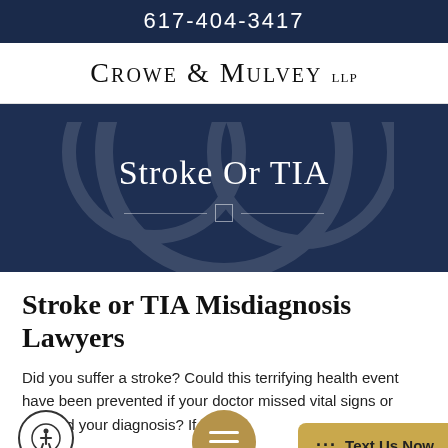617-404-3417
Crowe & Mulvey LLP
[Figure (other): Dark navy hero banner with decorative watermark showing scales of justice, containing the text 'Stroke Or TIA' and a horizontal divider with a small square ornament]
Stroke or TIA Misdiagnosis Lawyers
Did you suffer a stroke? Could this terrifying health event have been prevented if your doctor missed vital signs or delayed your diagnosis? If so,